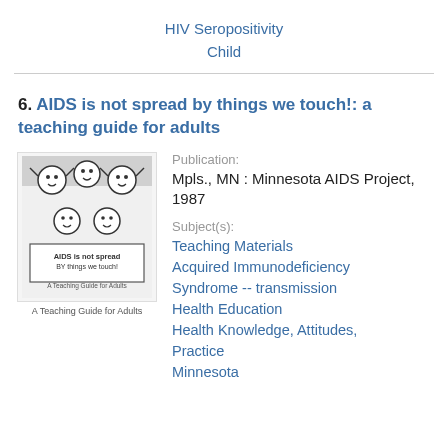HIV Seropositivity
Child
6. AIDS is not spread by things we touch!: a teaching guide for adults
[Figure (illustration): Book cover illustration showing cartoon children with text 'AIDS is not spread BY things we touch!' and subtitle 'A Teaching Guide for Adults']
A Teaching Guide for Adults
Publication:
Mpls., MN : Minnesota AIDS Project, 1987
Subject(s):
Teaching Materials
Acquired Immunodeficiency Syndrome -- transmission
Health Education
Health Knowledge, Attitudes, Practice
Minnesota